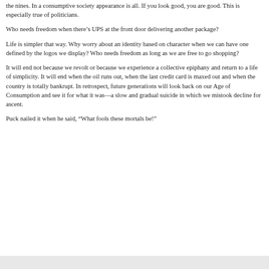the nines. In a consumptive society appearance is all. If you look good, you are good. This is especially true of politicians.
Who needs freedom when there’s UPS at the front door delivering another package?
Life is simpler that way. Why worry about an identity based on character when we can have one defined by the logos we display? Who needs freedom as long as we are free to go shopping?
It will end not because we revolt or because we experience a collective epiphany and return to a life of simplicity. It will end when the oil runs out, when the last credit card is maxed out and when the country is totally bankrupt. In retrospect, future generations will look back on our Age of Consumption and see it for what it was—a slow and gradual suicide in which we mistook decline for ascent.
Puck nailed it when he said, “What fools these mortals be!”